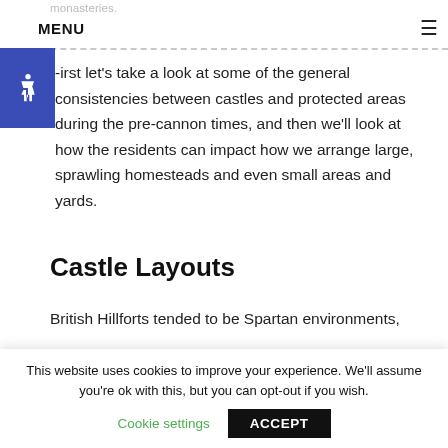monasteries.
MENU
-irst let's take a look at some of the general consistencies between castles and protected areas during the pre-cannon times, and then we'll look at how the residents can impact how we arrange large, sprawling homesteads and even small areas and yards.
Castle Layouts
British Hillforts tended to be Spartan environments,
This website uses cookies to improve your experience. We'll assume you're ok with this, but you can opt-out if you wish.
Cookie settings   ACCEPT